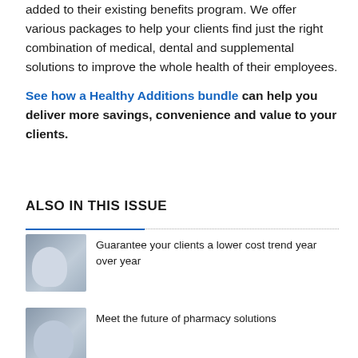added to their existing benefits program. We offer various packages to help your clients find just the right combination of medical, dental and supplemental solutions to improve the whole health of their employees.
See how a Healthy Additions bundle can help you deliver more savings, convenience and value to your clients.
ALSO IN THIS ISSUE
[Figure (photo): Photo of a man sitting and thinking, looking at a laptop]
Guarantee your clients a lower cost trend year over year
[Figure (photo): Photo of an older man with glasses]
Meet the future of pharmacy solutions